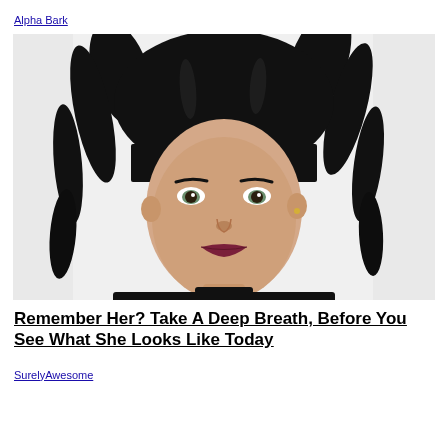Alpha Bark
[Figure (photo): Woman with black hair in two high ponytails and blunt bangs, wearing dark lipstick and a black top with a choker necklace, photographed against a light grey/white background.]
Remember Her? Take A Deep Breath, Before You See What She Looks Like Today
SurelyAwesome